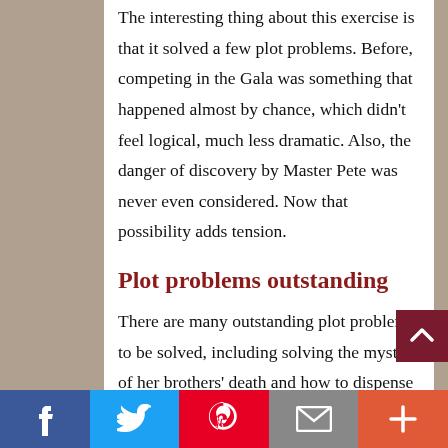The interesting thing about this exercise is that it solved a few plot problems. Before, competing in the Gala was something that happened almost by chance, which didn't feel logical, much less dramatic. Also, the danger of discovery by Master Pete was never even considered. Now that possibility adds tension.
Plot problems outstanding
There are many outstanding plot problems to be solved, including solving the mystery of her brothers' death and how to dispense with the vengeful Master.